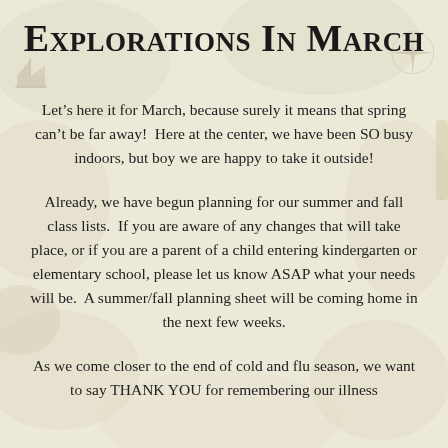Explorations In March
Let’s here it for March, because surely it means that spring can’t be far away!  Here at the center, we have been SO busy indoors, but boy we are happy to take it outside!
Already, we have begun planning for our summer and fall class lists.  If you are aware of any changes that will take place, or if you are a parent of a child entering kindergarten or elementary school, please let us know ASAP what your needs will be.  A summer/fall planning sheet will be coming home in the next few weeks.
As we come closer to the end of cold and flu season, we want to say THANK YOU for remembering our illness